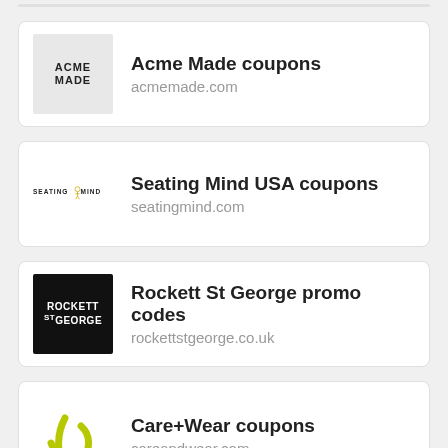[Figure (logo): Acme Made logo - light grey background with ACME MADE text in bold black capitals]
Acme Made coupons
acmemade.com
[Figure (logo): Seating Mind logo - white background with SEATING MIND text and a small gold figure icon]
Seating Mind USA coupons
seatingmind.com
[Figure (logo): Rockett St George logo - black square with ROCKETT ST GEORGE in white bold text]
Rockett St George promo codes
rockettstgeorge.co.uk
[Figure (logo): Care+Wear logo - yellow-green abstract plus/arrow mark]
Care+Wear coupons
careandwear.com